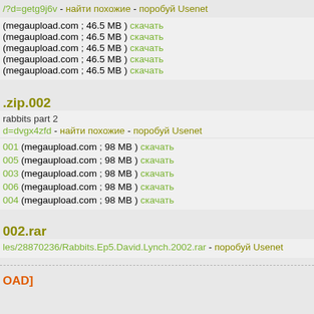/?d=getg9j6v - найти похожие - поробуй Usenet
(megaupload.com ; 46.5 MB ) скачать
(megaupload.com ; 46.5 MB ) скачать
(megaupload.com ; 46.5 MB ) скачать
(megaupload.com ; 46.5 MB ) скачать
(megaupload.com ; 46.5 MB ) скачать
.zip.002
rabbits part 2
d=dvgx4zfd - найти похожие - поробуй Usenet
001 (megaupload.com ; 98 MB ) скачать
005 (megaupload.com ; 98 MB ) скачать
003 (megaupload.com ; 98 MB ) скачать
006 (megaupload.com ; 98 MB ) скачать
004 (megaupload.com ; 98 MB ) скачать
002.rar
les/28870236/Rabbits.Ep5.David.Lynch.2002.rar - поробуй Usenet
OAD]